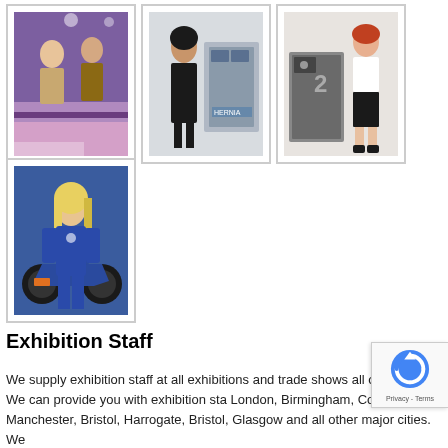[Figure (photo): Three photos in a row: left shows two women at a purple exhibition booth, center shows a woman standing next to industrial machinery with HERNIA branding, right shows a woman in black skirt and white top standing next to a grey industrial machine.]
[Figure (photo): Photo of a blonde woman in a blue racing suit sitting on a blue motorcycle at an exhibition.]
Exhibition Staff
We supply exhibition staff at all exhibitions and trade shows all over the UK. We can provide you with exhibition sta… London, Birmingham, Coventry, Manchester, Bristol, Harrogate, Bristol, Glasgow and all other major cities. We…